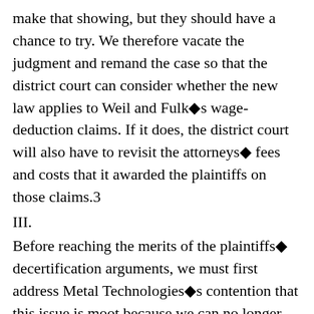make that showing, but they should have a chance to try. We therefore vacate the judgment and remand the case so that the district court can consider whether the new law applies to Weil and Fulk◆s wage-deduction claims. If it does, the district court will also have to revisit the attorneys◆ fees and costs that it awarded the plaintiffs on those claims.3
III.
Before reaching the merits of the plaintiffs◆ decertification arguments, we must first address Metal Technologies◆s contention that this issue is moot because we can no longer grant
2 As to the plaintiffs◆ argument that Metal Technologies’ willfully violated the...